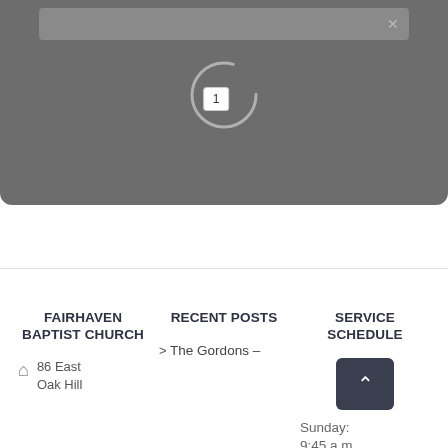[Figure (screenshot): A dark gray rounded search/loading UI panel with a search bar at the top, a circular spinner in the center, and a badge showing '1' below the spinner.]
FAIRHAVEN BAPTIST CHURCH
RECENT POSTS
SERVICE SCHEDULE
86 East Oak Hill
> The Gordons –
Sunday: 9:45 a.m.